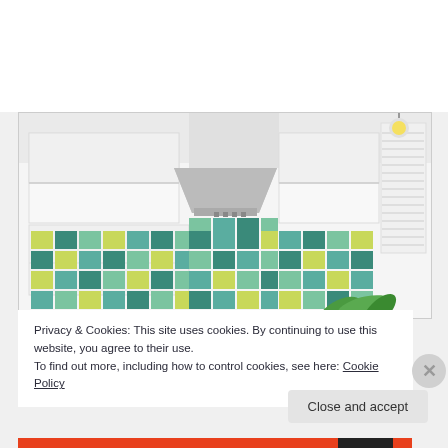[Figure (photo): Kitchen photo showing white cabinets, a stainless steel range hood, and colorful green and teal mosaic tile backsplash]
Privacy & Cookies: This site uses cookies. By continuing to use this website, you agree to their use.
To find out more, including how to control cookies, see here: Cookie Policy
Close and accept